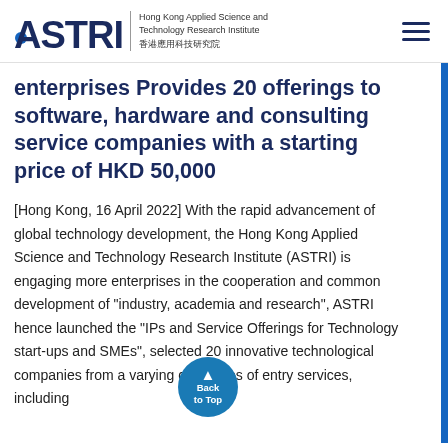ASTRI — Hong Kong Applied Science and Technology Research Institute 香港應用科技研究院
enterprises Provides 20 offerings to software, hardware and consulting service companies with a starting price of HKD 50,000
[Hong Kong, 16 April 2022] With the rapid advancement of global technology development, the Hong Kong Applied Science and Technology Research Institute (ASTRI) is engaging more enterprises in the cooperation and common development of "industry, academia and research", ASTRI hence launched the "IPs and Service Offerings for Technology start-ups and SMEs", selected 20 innovative technological companies from a varying categories of entry services, including